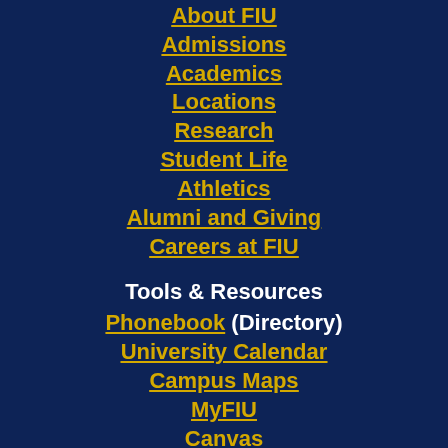About FIU
Admissions
Academics
Locations
Research
Student Life
Athletics
Alumni and Giving
Careers at FIU
Tools & Resources
Phonebook (Directory)
University Calendar
Campus Maps
MyFIU
Canvas
Student Email
Faculty/Staff Email